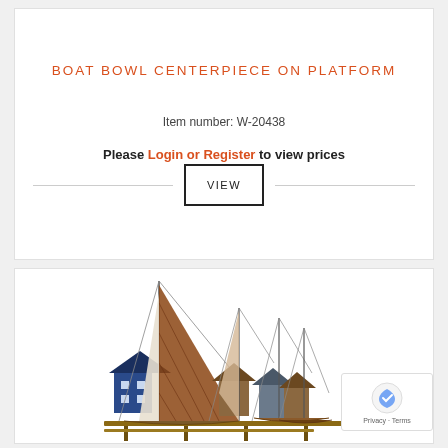BOAT BOWL CENTERPIECE ON PLATFORM
Item number: W-20438
Please Login or Register to view prices
VIEW
[Figure (photo): A decorative metal wall art sculpture depicting sailboats and colorful coastal houses on a platform/dock, with tall masts and sails in rust/brown tones.]